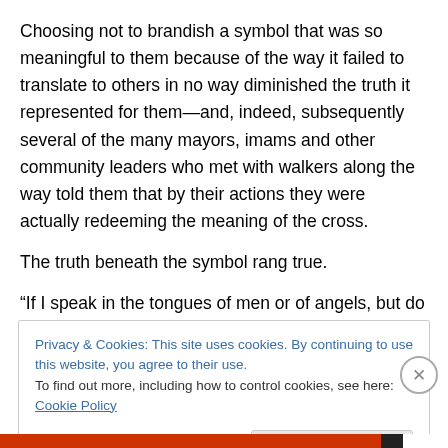Choosing not to brandish a symbol that was so meaningful to them because of the way it failed to translate to others in no way diminished the truth it represented for them—and, indeed, subsequently several of the many mayors, imams and other community leaders who met with walkers along the way told them that by their actions they were actually redeeming the meaning of the cross.

The truth beneath the symbol rang true.

“If I speak in the tongues of men or of angels, but do not
Privacy & Cookies: This site uses cookies. By continuing to use this website, you agree to their use.
To find out more, including how to control cookies, see here: Cookie Policy

[Close and accept]